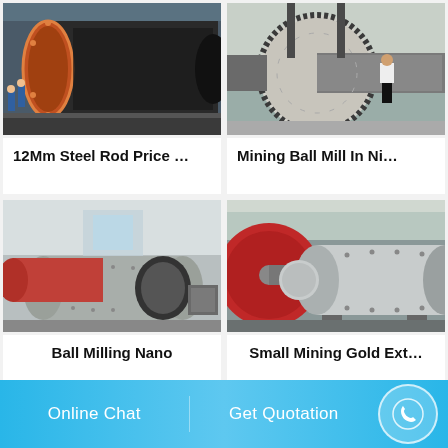[Figure (photo): Large industrial steel rod or cylindrical mill drum lying horizontally in a factory/workshop, workers visible nearby in blue uniforms]
12Mm Steel Rod Price …
[Figure (photo): Large ball mill machine in an industrial setting with a man in white shirt standing next to it for scale]
Mining Ball Mill In Ni…
[Figure (photo): Ball mill grinding machinery with large gear rings visible, multiple cylindrical mills in a factory]
Ball Milling Nano
[Figure (photo): Industrial ball mill with red flywheel/wheel visible on the left side, large cylindrical drum in a mining facility]
Small Mining Gold Ext…
Online Chat
Get Quotation